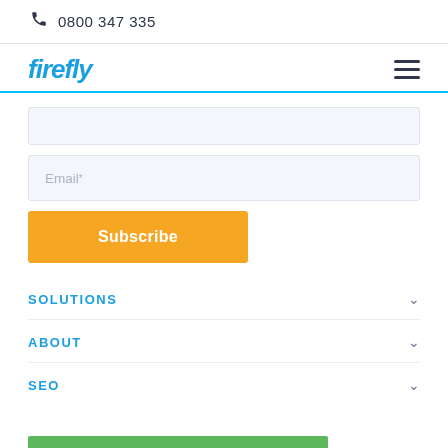0800 347 335
firefly
Email*
Subscribe
SOLUTIONS
ABOUT
SEO